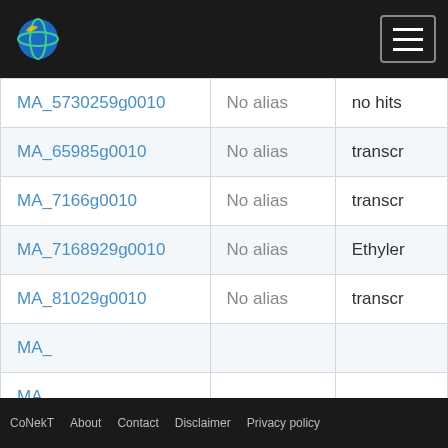CoNekT [logo] [menu]
| Gene ID | Alias | Description |
| --- | --- | --- |
| MA_5730259g0010 | No alias | no hits |
| MA_65985g0010 | No alias | transcr |
| MA_7166g0010 | No alias | transcr |
| MA_7168929g0010 | No alias | Ethyler |
| MA_81029g0010 | No alias | transcr |
| MA_... |  |  |
| MA_... |  |  |
| MA_... |  |  |
| MA_... |  |  |
| MA_... |  |  |
This website uses cookies to ensure you get the best experience on our website. Learn more
Got it!
CoNekT   About   Contact   Disclaimer   Privacy policy